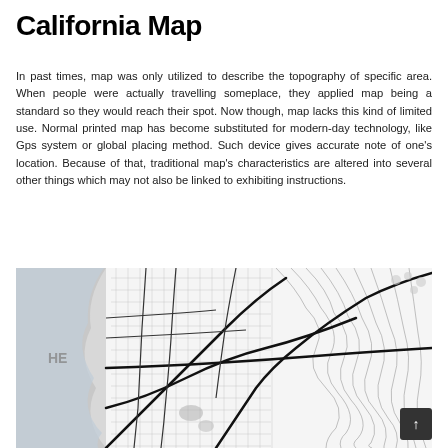California Map
In past times, map was only utilized to describe the topography of specific area. When people were actually travelling someplace, they applied map being a standard so they would reach their spot. Now though, map lacks this kind of limited use. Normal printed map has become substituted for modern-day technology, like Gps system or global placing method. Such device gives accurate note of one's location. Because of that, traditional map's characteristics are altered into several other things which may not also be linked to exhibiting instructions.
[Figure (map): Black and white street map of a California city area showing roads, city grid, topographic contour lines, and a waterfront/bay area on the left side. Partial text 'HE' visible on the map.]